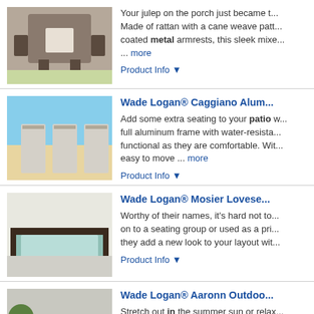[Figure (photo): Outdoor rattan porch chair with metal armrests]
Your julep on the porch just became t... Made of rattan with a cane weave patt... coated metal armrests, this sleek mixe... ... more
Product Info ▼
[Figure (photo): Wade Logan Caggiano aluminum patio chairs by the beach]
Wade Logan® Caggiano Alum...
Add some extra seating to your patio w... full aluminum frame with water-resista... functional as they are comfortable. Wit... easy to move ... more
Product Info ▼
[Figure (photo): Wade Logan Mosier loveseat outdoor sofa with mint cushions]
Wade Logan® Mosier Lovese...
Worthy of their names, it's hard not to... on to a seating group or used as a pri... they add a new look to your layout wit...
Product Info ▼
[Figure (photo): Wade Logan Aaronn outdoor chair with plants in background]
Wade Logan® Aaronn Outdoo...
Stretch out in the summer sun or relax... evening with the help of this beautiful c... look, this chair provides a timeless sty...
Product Info ▼
[Figure (photo): Placeholder image not available for Wade Logan Castelli]
Wade Logan® Castelli 82" Lor...
This 2-piece set of outdoor lounge cha... the garden or work on your tan by the...